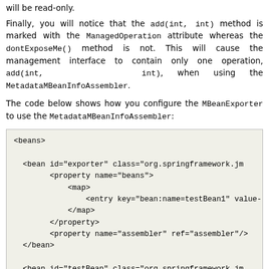will be read-only.
Finally, you will notice that the add(int, int) method is marked with the ManagedOperation attribute whereas the dontExposeMe() method is not. This will cause the management interface to contain only one operation, add(int, int), when using the MetadataMBeanInfoAssembler.
The code below shows how you configure the MBeanExporter to use the MetadataMBeanInfoAssembler:
[Figure (screenshot): XML code block showing Spring bean configuration with MBeanExporter and MetadataMBeanInfoAssembler setup including beans, testBean, property name, age, and assembler entries.]